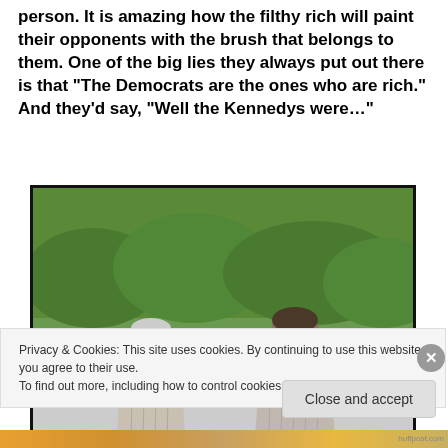person. It is amazing how the filthy rich will paint their opponents with the brush that belongs to them. One of the big lies they always put out there is that “The Democrats are the ones who are rich.” And they’d say, “Well the Kennedys were…”
[Figure (photo): Two men seen from behind, wearing light-colored shirts, standing outdoors with green bushes/hedge in the background and a road/driveway visible.]
Privacy & Cookies: This site uses cookies. By continuing to use this website, you agree to their use.
To find out more, including how to control cookies, see here: Cookie Policy
Close and accept